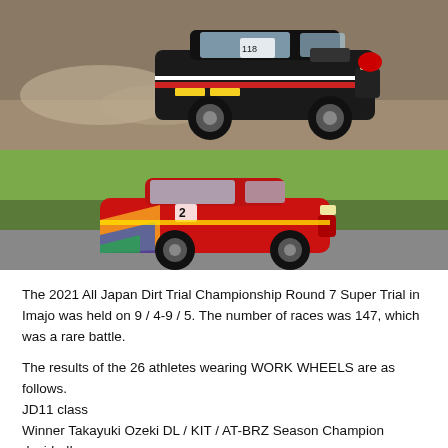[Figure (photo): Rally car - black Mazda racing car kicking up dirt on a dirt track]
[Figure (photo): Rally car - red sports car with colorful graphics on a paved road with green vegetation in background]
The 2021 All Japan Dirt Trial Championship Round 7 Super Trial in Imajo was held on 9 / 4-9 / 5. The number of races was 147, which was a rare battle.
The results of the 26 athletes wearing WORK WHEELS are as follows.
JD11 class
Winner Takayuki Ozeki DL / KIT / AT-BRZ Season Champion decided!
2nd place Shin Terada T Garage DL Vertex 86